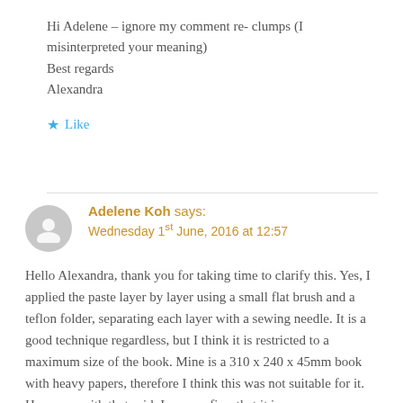Hi Adelene – ignore my comment re- clumps (I misinterpreted your meaning)
Best regards
Alexandra
★ Like
Adelene Koh says:
Wednesday 1st June, 2016 at 12:57
Hello Alexandra, thank you for taking time to clarify this. Yes, I applied the paste layer by layer using a small flat brush and a teflon folder, separating each layer with a sewing needle. It is a good technique regardless, but I think it is restricted to a maximum size of the book. Mine is a 310 x 240 x 45mm book with heavy papers, therefore I think this was not suitable for it. However, with that said, I can confirm that it is a very